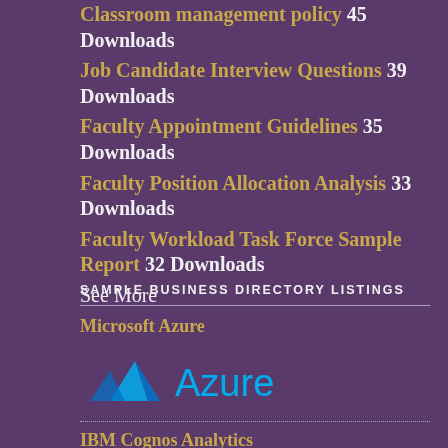Classroom management policy 45 Downloads
Job Candidate Interview Questions 39 Downloads
Faculty Appointment Guidelines 35 Downloads
Faculty Position Allocation Analysis 33 Downloads
Faculty Workload Task Force Sample Report 32 Downloads
See More
SAMPLE BUSINESS DIRECTORY LISTINGS
Microsoft Azure
[Figure (logo): Microsoft Azure logo with triangular mountain icon and 'Azure' text in blue]
IBM Cognos Analytics
[Figure (logo): IBM logo with horizontal blue stripes forming IBM letters]